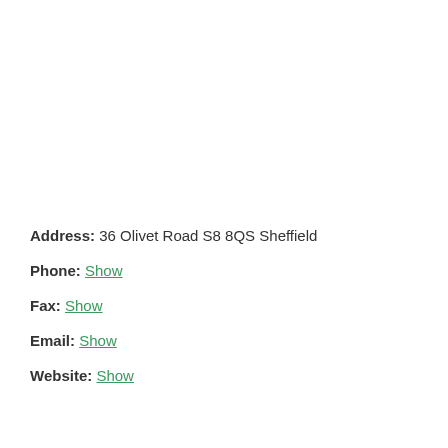Address: 36 Olivet Road S8 8QS Sheffield
Phone: Show
Fax: Show
Email: Show
Website: Show